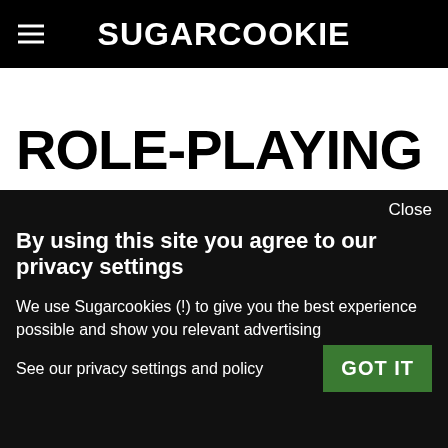SUGARCOOKIE
ROLE-PLAYING
Close
By using this site you agree to our privacy settings
We use Sugarcookies (!) to give you the best experience possible and show you relevant advertising
See our privacy settings and policy
GOT IT